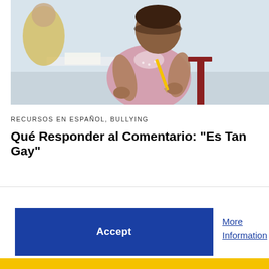[Figure (photo): A child sitting at a white table holding a yellow pencil, wearing a pink outfit. An adult in a yellow shirt is visible in the background.]
RECURSOS EN ESPAÑOL, BULLYING
Qué Responder al Comentario: “Es Tan Gay”
Accept
More Information